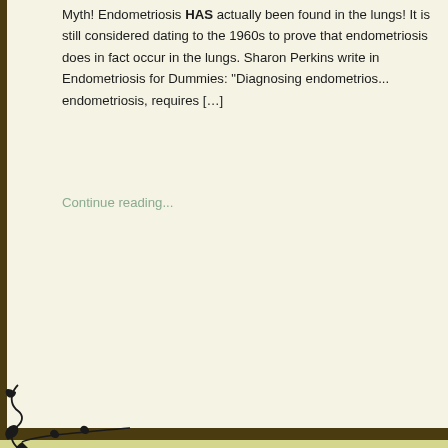Myth! Endometriosis HAS actually been found in the lungs! It is still considered dating to the 1960s to prove that endometriosis does in fact occur in the lungs. Sharon Perkins write in Endometriosis for Dummies: "Diagnosing endometrios... endometriosis, requires […]
Continue reading...
[Figure (illustration): Decorative scrollwork corner ornament at bottom-left of white card section, black ink on light background]
[Figure (illustration): Decorative horizontal divider with scrollwork, arrow, and flower motif centered on olive/tan background]
[Figure (illustration): Decorative scrollwork corner ornament at bottom-left of second white card section]